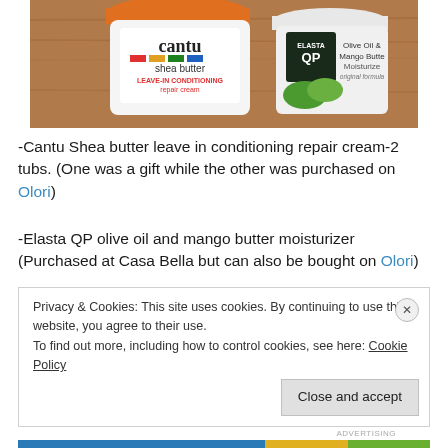[Figure (photo): Two product containers on a wooden surface: Cantu Shea Butter Leave-In Conditioning Repair Cream (white/orange tub) and Elasta QP Olive Oil & Mango Butter Moisturizer (white/green tub)]
-Cantu Shea butter leave in conditioning repair cream-2 tubs. (One was a gift while the other was purchased on Olori)
-Elasta QP olive oil and mango butter moisturizer (Purchased at Casa Bella but can also be bought on Olori)
Privacy & Cookies: This site uses cookies. By continuing to use this website, you agree to their use.
To find out more, including how to control cookies, see here: Cookie Policy
Close and accept